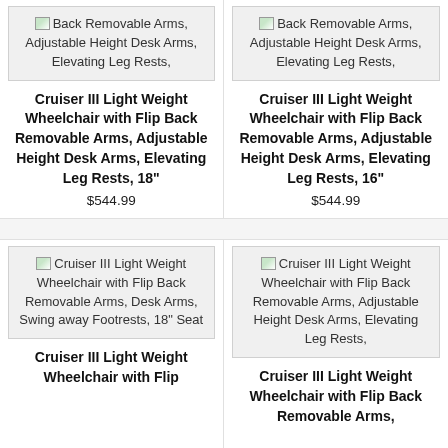[Figure (photo): Product image placeholder for Cruiser III Light Weight Wheelchair with Flip Back Removable Arms, Adjustable Height Desk Arms, Elevating Leg Rests (top left)]
Back Removable Arms, Adjustable Height Desk Arms, Elevating Leg Rests,
Cruiser III Light Weight Wheelchair with Flip Back Removable Arms, Adjustable Height Desk Arms, Elevating Leg Rests, 18"
$544.99
[Figure (photo): Product image placeholder for Cruiser III Light Weight Wheelchair with Flip Back Removable Arms, Adjustable Height Desk Arms, Elevating Leg Rests (top right)]
Back Removable Arms, Adjustable Height Desk Arms, Elevating Leg Rests,
Cruiser III Light Weight Wheelchair with Flip Back Removable Arms, Adjustable Height Desk Arms, Elevating Leg Rests, 16"
$544.99
[Figure (photo): Product image placeholder for Cruiser III Light Weight Wheelchair with Flip Back Removable Arms, Desk Arms, Swing away Footrests, 18 Seat (bottom left)]
Cruiser III Light Weight Wheelchair with Flip Back Removable Arms, Desk Arms, Swing away Footrests, 18" Seat
Cruiser III Light Weight Wheelchair with Flip
[Figure (photo): Product image placeholder for Cruiser III Light Weight Wheelchair with Flip Back Removable Arms, Adjustable Height Desk Arms, Elevating Leg Rests (bottom right)]
Cruiser III Light Weight Wheelchair with Flip Back Removable Arms, Adjustable Height Desk Arms, Elevating Leg Rests,
Cruiser III Light Weight Wheelchair with Flip Back Removable Arms,